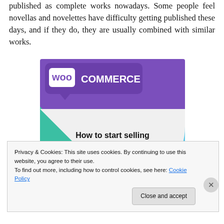published as complete works nowadays. Some people feel novellas and novelettes have difficulty getting published these days, and if they do, they are usually combined with similar works.
[Figure (illustration): WooCommerce advertisement banner showing logo and text 'How to start selling subscriptions online' with purple, teal/green, and light blue geometric shapes on a light grey background.]
Privacy & Cookies: This site uses cookies. By continuing to use this website, you agree to their use.
To find out more, including how to control cookies, see here: Cookie Policy